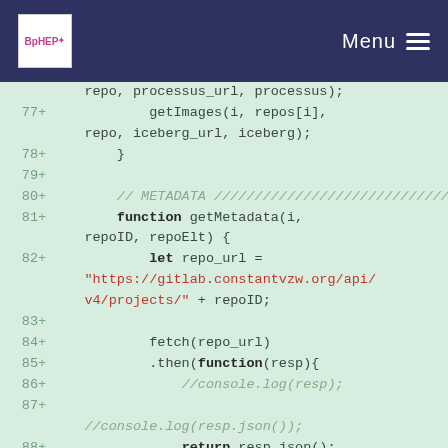Menu
[Figure (screenshot): Code diff view showing JavaScript source lines 77-89 with line numbers, plus signs, and syntax-highlighted code on a light green background. Lines include getImages call, closing brace, METADATA comment, getMetadata function definition, let repo_url assignment with a red string URL, fetch chain with .then, console.log comments, and return resp.json().]